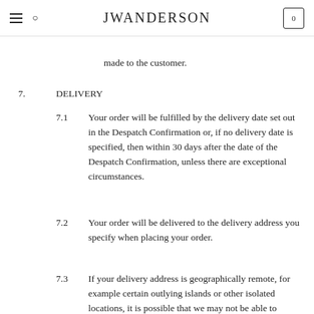JWAnderson
made to the customer.
7. DELIVERY
7.1 Your order will be fulfilled by the delivery date set out in the Despatch Confirmation or, if no delivery date is specified, then within 30 days after the date of the Despatch Confirmation, unless there are exceptional circumstances.
7.2 Your order will be delivered to the delivery address you specify when placing your order.
7.3 If your delivery address is geographically remote, for example certain outlying islands or other isolated locations, it is possible that we may not be able to deliver there. If that is the case, we will